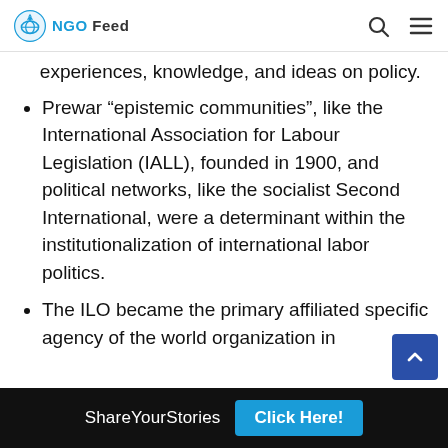NGO Feed
experiences, knowledge, and ideas on policy.
Prewar “epistemic communities”, like the International Association for Labour Legislation (IALL), founded in 1900, and political networks, like the socialist Second International, were a determinant within the institutionalization of international labor politics.
The ILO became the primary affiliated specific agency of the world organization in 1946, in recognition of its activities the...
ShareYourStories  Click Here!